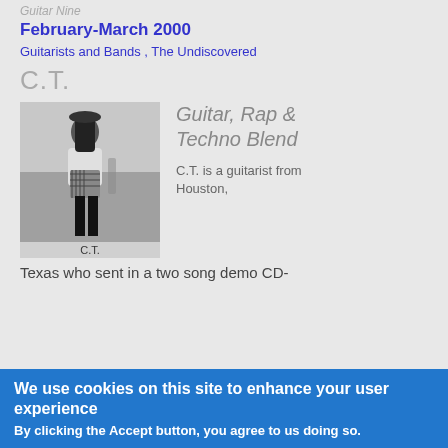Guitar Nine
February-March 2000
Guitarists and Bands , The Undiscovered
C.T.
[Figure (photo): Black and white photo of C.T., a guitarist standing outdoors wearing sunglasses, a white shirt, and plaid pants tied around the waist.]
C.T.
Guitar, Rap & Techno Blend
C.T. is a guitarist from Houston,
Texas who sent in a two song demo CD-
We use cookies on this site to enhance your user experience
By clicking the Accept button, you agree to us doing so.